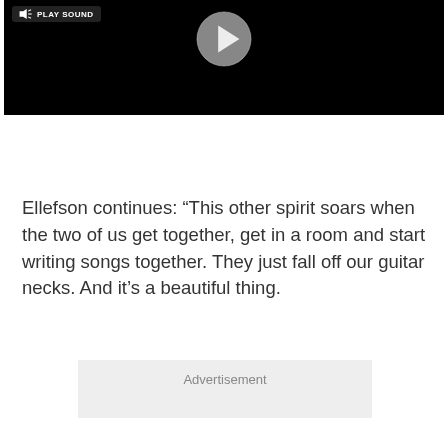[Figure (screenshot): Black video player with play sound button in top left and a play button (circle with triangle) in center]
Ellefson continues: “This other spirit soars when the two of us get together, get in a room and start writing songs together. They just fall off our guitar necks. And it’s a beautiful thing.
Advertisement